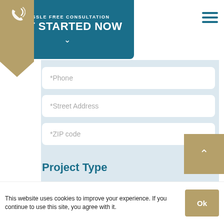[Figure (screenshot): Website header with teal 'HASSLE FREE CONSULTATION / GET STARTED NOW' CTA button, gold phone icon ribbon on left, and hamburger menu icon on right]
*Phone
*Street Address
*ZIP code
Project Type
Replacement Windows
This website uses cookies to improve your experience. If you continue to use this site, you agree with it.